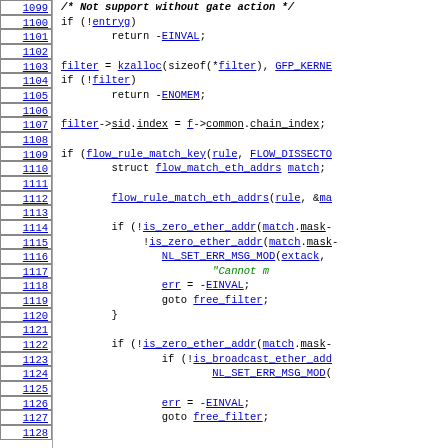[Figure (screenshot): Source code listing in monospaced font with line numbers 1099-1128 on the left side. Code shows C kernel networking filter code with hyperlinked identifiers in blue underline.]